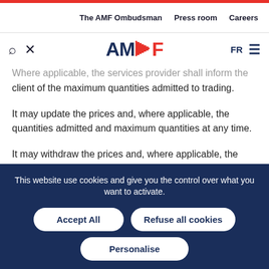The AMF Ombudsman   Press room   Careers
Where applicable, the services provider shall inform the client of the maximum quantities admitted to trading.
It may update the prices and, where applicable, the quantities admitted and maximum quantities at any time.
It may withdraw the prices and, where applicable, the quantities admitted and maximum quantities in the event of exceptional market conditions.
This website use cookies and give you the control over what you want to activate.
Accept All
Refuse all cookies
Personalise